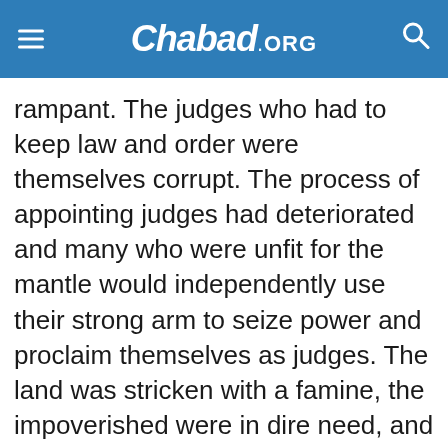Chabad.ORG
rampant. The judges who had to keep law and order were themselves corrupt. The process of appointing judges had deteriorated and many who were unfit for the mantle would independently use their strong arm to seize power and proclaim themselves as judges. The land was stricken with a famine, the impoverished were in dire need, and no one could control them.
Being very wealthy Elimelech did not mind helping his brethren, but feared a stampede or looting that may put his life in jeopardy. In the book of Judges (21:25) the prevalent situation is described as follows: “In those days there was no king in Israel; every man did